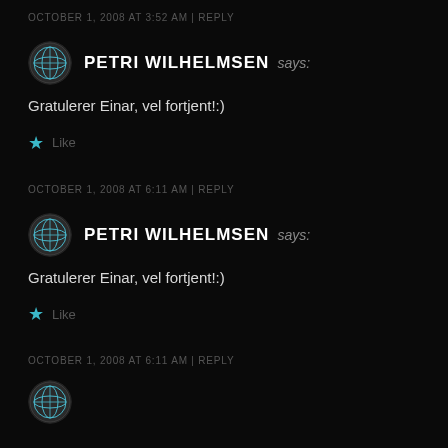OCTOBER 1, 2008 AT 3:52 AM | REPLY
PETRI WILHELMSEN says:
Gratulerer Einar, vel fortjent!:)
★ Like
OCTOBER 1, 2008 AT 6:11 AM | REPLY
PETRI WILHELMSEN says:
Gratulerer Einar, vel fortjent!:)
★ Like
OCTOBER 1, 2008 AT 6:11 AM | REPLY